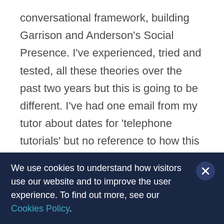conversational framework, building Garrison and Anderson's Social Presence. I've experienced, tried and tested, all these theories over the past two years but this is going to be different. I've had one email from my tutor about dates for 'telephone tutorials' but no reference to how this will take place. I'm assuming Skype but I don't know for sure. In previous units we used First Class but have no software this time. I don't like telephones. I don't even have one at home. I prefer the keyboard. In
We use cookies to understand how visitors use our website and to improve the user experience. To find out more, see our Cookies Policy.